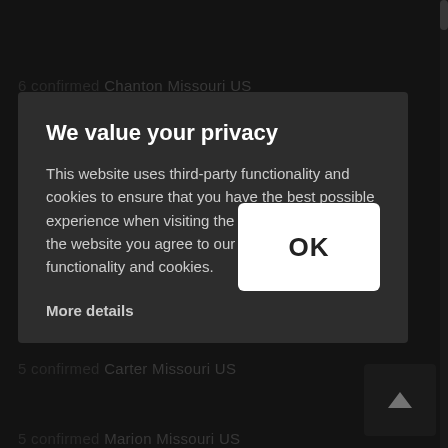[Figure (screenshot): Dark-themed website background showing dimmed list items: '6 confirmed Chanton Missouri US', '5 confirmed', '5 confirmed Caldwell Missouri US', '5 confirmed Carter Missouri US', '5 confirmed Marion Missouri US' with a cookie consent modal overlay.]
We value your privacy
This website uses third-party functionality and cookies to ensure that you have the best possible experience when visiting the website. By using the website you agree to our use of third-party functionality and cookies.
More details
OK